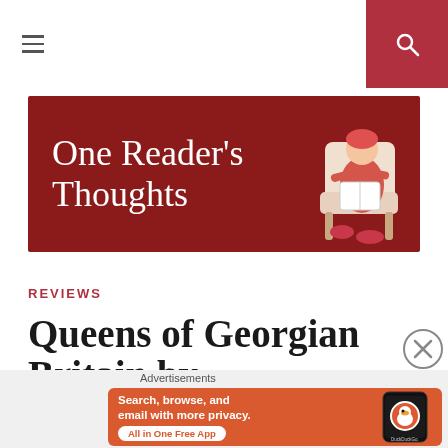Navigation header with hamburger menu and search button
[Figure (logo): One Reader's Thoughts blog banner with cursive white text on dark red background and illustration of person reading in chair]
REVIEWS
Queens of Georgian Britain by
Advertisements
[Figure (screenshot): DuckDuckGo advertisement: Search, browse, and email with more privacy. All in One Free App]